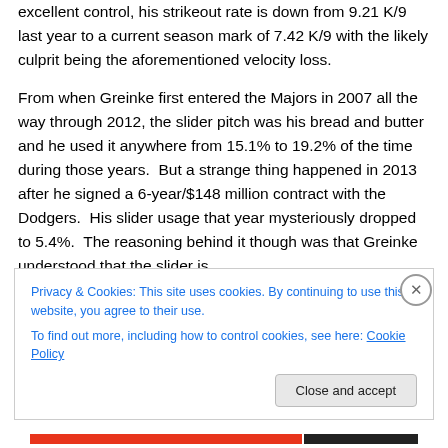excellent control, his strikeout rate is down from 9.21 K/9 last year to a current season mark of 7.42 K/9 with the likely culprit being the aforementioned velocity loss.
From when Greinke first entered the Majors in 2007 all the way through 2012, the slider pitch was his bread and butter and he used it anywhere from 15.1% to 19.2% of the time during those years.  But a strange thing happened in 2013 after he signed a 6-year/$148 million contract with the Dodgers.  His slider usage that year mysteriously dropped to 5.4%.  The reasoning behind it though was that Greinke understood that the slider is
Privacy & Cookies: This site uses cookies. By continuing to use this website, you agree to their use.
To find out more, including how to control cookies, see here: Cookie Policy